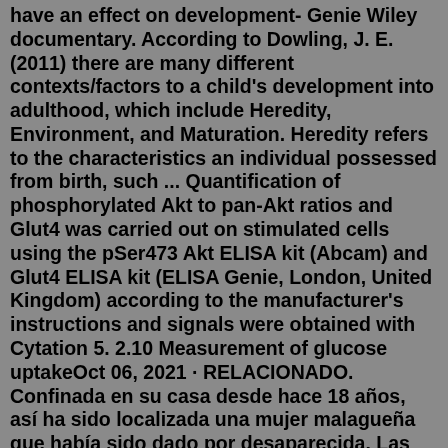have an effect on development- Genie Wiley documentary. According to Dowling, J. E. (2011) there are many different contexts/factors to a child's development into adulthood, which include Heredity, Environment, and Maturation. Heredity refers to the characteristics an individual possessed from birth, such ... Quantification of phosphorylated Akt to pan-Akt ratios and Glut4 was carried out on stimulated cells using the pSer473 Akt ELISA kit (Abcam) and Glut4 ELISA kit (ELISA Genie, London, United Kingdom) according to the manufacturer's instructions and signals were obtained with Cytation 5. 2.10 Measurement of glucose uptakeOct 06, 2021 · RELACIONADO. Confinada en su casa desde hace 18 años, así ha sido localizada una mujer malagueña que había sido dado por desaparecida. Las cosas empeoraron cuando la llevaron al médico: tenía un año y seis meses, pero no había aprendido a andar ni a hablar. El pediatra les comunicó que el desarrollo de Genie (nombre ficticio con el que ... As expected, in the genie-aided case no collision happens. Other than